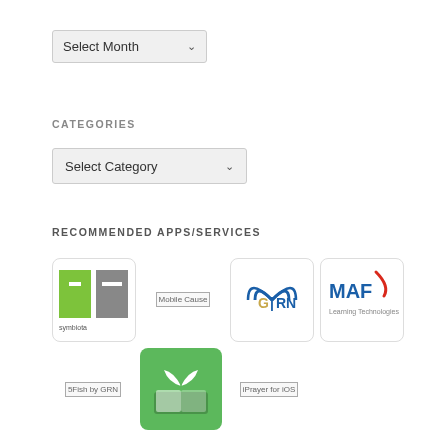Select Month
CATEGORIES
Select Category
RECOMMENDED APPS/SERVICES
[Figure (illustration): Symbiota app icon - green and gray logo with symbiota text]
[Figure (illustration): Mobile Cause app icon - placeholder image]
[Figure (illustration): GRN app icon - circular radio wave logo]
[Figure (illustration): MAF Learning Technologies app icon - logo with red swoosh]
[Figure (illustration): 5Fish by GRN app icon - placeholder image]
[Figure (illustration): Green plant/leaf app icon on green background]
[Figure (illustration): iPrayer for iOS app icon - placeholder image]